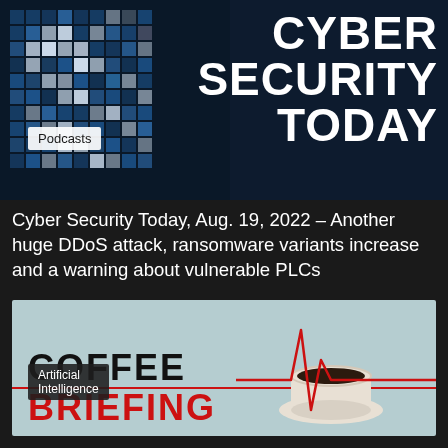[Figure (illustration): Cyber Security Today banner with blue pixelated digital background on the left and large white bold text 'CYBER SECURITY TODAY' on the right]
Podcasts
Cyber Security Today, Aug. 19, 2022 – Another huge DDoS attack, ransomware variants increase and a warning about vulnerable PLCs
[Figure (illustration): Coffee Briefing banner with light teal background, large black bold text 'COFFEE' and red bold text 'BRIEFING', a coffee cup photo on the right, and a red heartbeat/ECG line graphic]
Artificial Intelligence